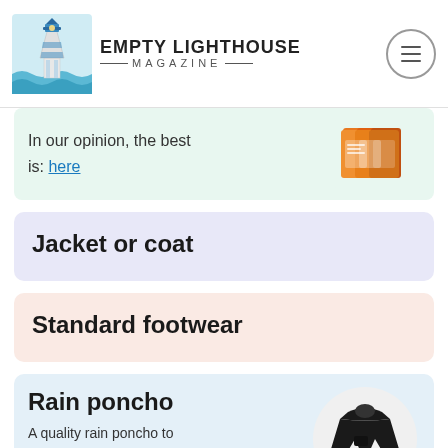EMPTY LIGHTHOUSE MAGAZINE
In our opinion, the best is: here
[Figure (photo): Product image of snack/food package in orange packaging]
Jacket or coat
Standard footwear
Rain poncho
A quality rain poncho to wear over your jacket saves you time and money by protecting
[Figure (photo): Black rain poncho displayed on white circular background]